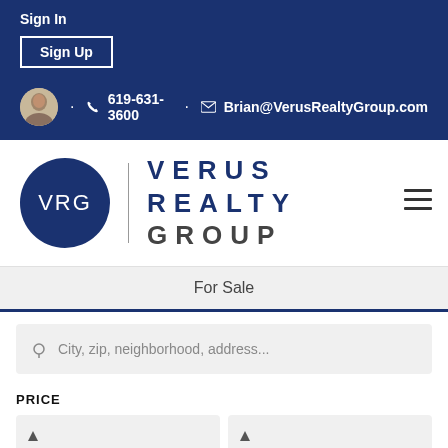Sign In
Sign Up
619-631-3600 · Brian@VerusRealtyGroup.com
[Figure (logo): Verus Realty Group logo with VRG in dark blue circle and company name in spaced letters]
For Sale
City, zip, neighborhood, address...
PRICE